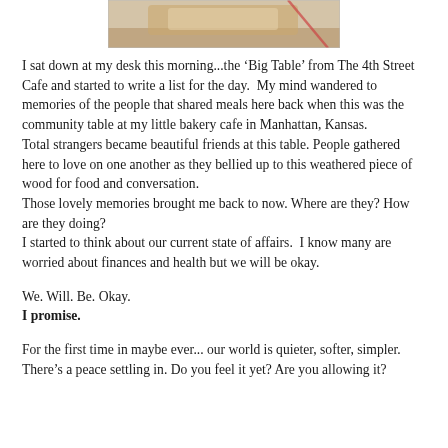[Figure (photo): Partial photo of a baked good or food item on a table, cropped at top]
I sat down at my desk this morning...the ‘Big Table’ from The 4th Street Cafe and started to write a list for the day.  My mind wandered to memories of the people that shared meals here back when this was the community table at my little bakery cafe in Manhattan, Kansas.
Total strangers became beautiful friends at this table. People gathered here to love on one another as they bellied up to this weathered piece of wood for food and conversation.
Those lovely memories brought me back to now. Where are they? How are they doing?
I started to think about our current state of affairs.  I know many are worried about finances and health but we will be okay.
We. Will. Be. Okay.
I promise.
For the first time in maybe ever... our world is quieter, softer, simpler.
There’s a peace settling in. Do you feel it yet? Are you allowing it?